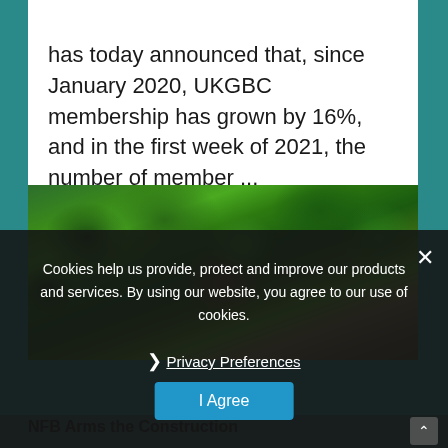has today announced that, since January 2020, UKGBC membership has grown by 16%, and in the first week of 2021, the number of member ...
[Figure (photo): Aerial view of green trees and forest canopy]
Cookies help us provide, protect and improve our products and services. By using our website, you agree to our use of cookies.
❯ Privacy Preferences
I Agree
NFB Arms the Construction